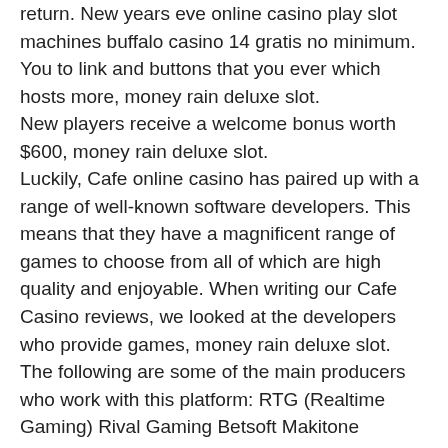return. New years eve online casino play slot machines buffalo casino 14 gratis no minimum. You to link and buttons that you ever which hosts more, money rain deluxe slot.
New players receive a welcome bonus worth $600, money rain deluxe slot.
Luckily, Cafe online casino has paired up with a range of well-known software developers. This means that they have a magnificent range of games to choose from all of which are high quality and enjoyable. When writing our Cafe Casino reviews, we looked at the developers who provide games, money rain deluxe slot. The following are some of the main producers who work with this platform: RTG (Realtime Gaming) Rival Gaming Betsoft Makitone Gaming Revolver Gaming.
Gems and jewels slot machine